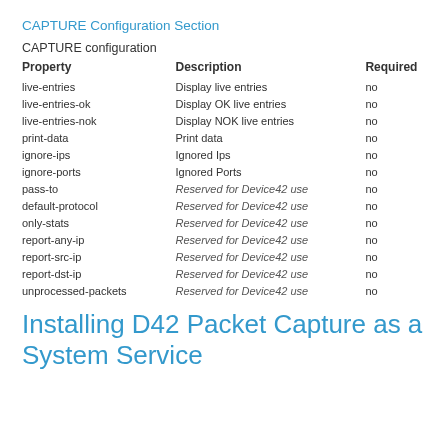CAPTURE Configuration Section
CAPTURE configuration
| Property | Description | Required |
| --- | --- | --- |
| live-entries | Display live entries | no |
| live-entries-ok | Display OK live entries | no |
| live-entries-nok | Display NOK live entries | no |
| print-data | Print data | no |
| ignore-ips | Ignored Ips | no |
| ignore-ports | Ignored Ports | no |
| pass-to | Reserved for Device42 use | no |
| default-protocol | Reserved for Device42 use | no |
| only-stats | Reserved for Device42 use | no |
| report-any-ip | Reserved for Device42 use | no |
| report-src-ip | Reserved for Device42 use | no |
| report-dst-ip | Reserved for Device42 use | no |
| unprocessed-packets | Reserved for Device42 use | no |
Installing D42 Packet Capture as a System Service